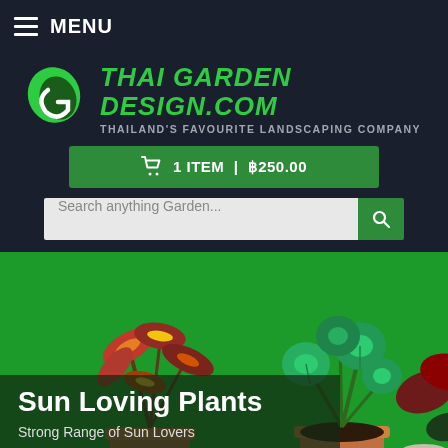MENU
[Figure (logo): Thai Garden Design logo: green leaf with white G shape, next to bold green italic text THAI GARDEN DESIGN.COM with tagline THAILAND'S FAVOURITE LANDSCAPING COMPANY]
1 ITEM | ฿250.00
Search anything Garden...
[Figure (photo): Hero banner photo showing colorful sun-loving plants in terracotta pots against a bright green background. Left: red and yellow croton plant, center: green peperomia, right: dark red plant.]
Sun Loving Plants
Strong Range of Sun Lovers